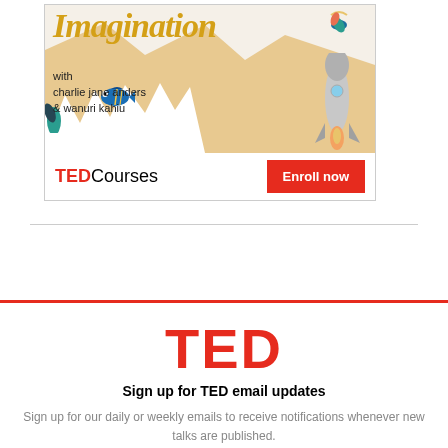[Figure (illustration): TED Courses advertisement banner featuring 'Imagination' in gold italic script, with charlie jane anders & wanuri kahiu text, decorative fish, rocket, bird, torn paper effect on sandy/gold background. Bottom bar shows TED Courses logo and red Enroll now button.]
Sign up for TED email updates
Sign up for our daily or weekly emails to receive notifications whenever new talks are published.